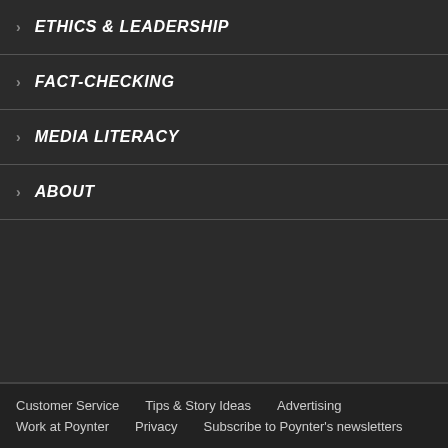ETHICS & LEADERSHIP
FACT-CHECKING
MEDIA LITERACY
ABOUT
Customer Service   Tips & Story Ideas   Advertising   Work at Poynter   Privacy   Subscribe to Poynter's newsletters